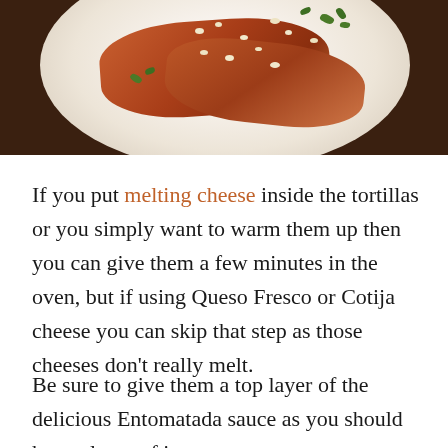[Figure (photo): A plate of enchiladas topped with red tomato sauce, crumbled white cheese, and fresh herbs, photographed from above on a dark background.]
If you put melting cheese inside the tortillas or you simply want to warm them up then you can give them a few minutes in the oven, but if using Queso Fresco or Cotija cheese you can skip that step as those cheeses don't really melt.
Be sure to give them a top layer of the delicious Entomatada sauce as you should have plenty of it.